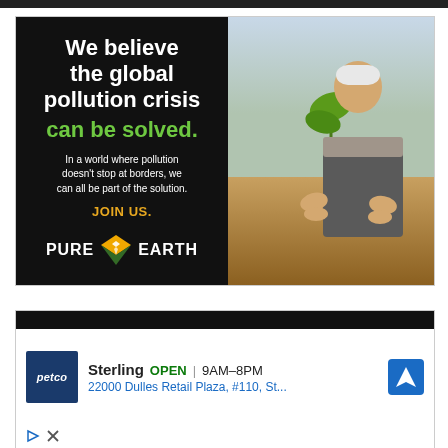[Figure (illustration): Pure Earth advertisement banner. Left side: black background with white bold text 'We believe the global pollution crisis' followed by green bold text 'can be solved.' then white body text 'In a world where pollution doesn't stop at borders, we can all be part of the solution.' then gold text 'JOIN US.' and the Pure Earth logo (diamond icon with PURE EARTH text). Right side: Photo of a man in a white hard hat and vest kneeling while planting a small tree sapling.]
[Figure (screenshot): Petco local ad. Black top bar. Petco navy logo. Text: 'Sterling OPEN | 9AM-8PM' and address '22000 Dulles Retail Plaza, #110, St...' with a blue navigation arrow icon. Below: ad attribution icons (play triangle and X close).]